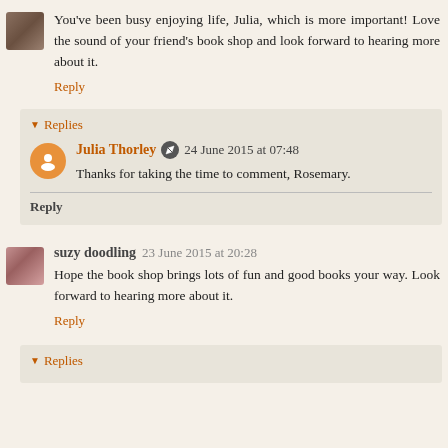You've been busy enjoying life, Julia, which is more important! Love the sound of your friend's book shop and look forward to hearing more about it.
Reply
Replies
Julia Thorley  24 June 2015 at 07:48
Thanks for taking the time to comment, Rosemary.
Reply
suzy doodling  23 June 2015 at 20:28
Hope the book shop brings lots of fun and good books your way. Look forward to hearing more about it.
Reply
Replies